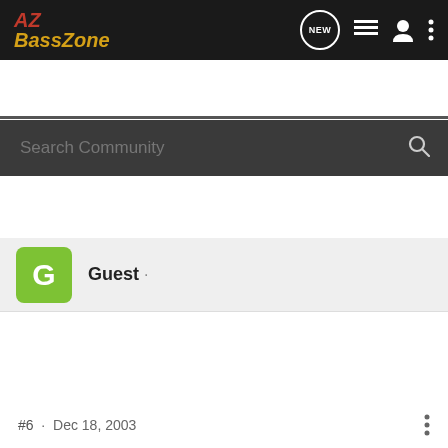AZ BassZone - navigation bar with logo, NEW button, list icon, person icon, menu icon
Search Community
Guest ·
#6 · Dec 18, 2003
I think 3/6 is Allstar at Apache. If this thing lands on one of my days off you can count me in. Not sure how to get to Bartlett from the east side. Last time I fished it it was from the best side :roll: and I went through Carefree.
Guest ·